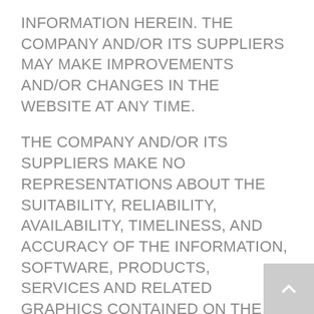INFORMATION HEREIN. THE COMPANY AND/OR ITS SUPPLIERS MAY MAKE IMPROVEMENTS AND/OR CHANGES IN THE WEBSITE AT ANY TIME.
THE COMPANY AND/OR ITS SUPPLIERS MAKE NO REPRESENTATIONS ABOUT THE SUITABILITY, RELIABILITY, AVAILABILITY, TIMELINESS, AND ACCURACY OF THE INFORMATION, SOFTWARE, PRODUCTS, SERVICES AND RELATED GRAPHICS CONTAINED ON THE WEBSITE FOR ANY PURPOSE. TO THE MAXIMUM EXTENT PERMITTED BY APPLICABLE LAW, ALL SUCH INFORMATION, SOFTWARE, PRODUCTS, SERVICES AND RELATED GRAPHICS ARE PROVIDED "AS IS" WITHOUT WARRANTY OR CONDITION OF ANY KIND. THE COMPANY